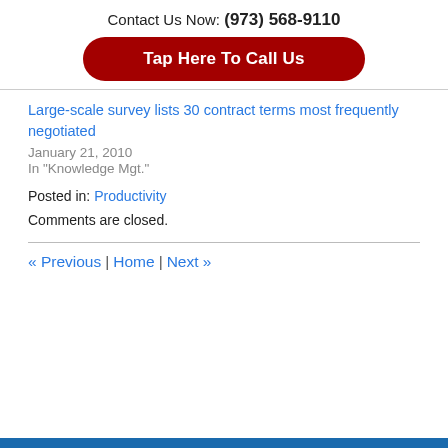Contact Us Now: (973) 568-9110
Tap Here To Call Us
Large-scale survey lists 30 contract terms most frequently negotiated
January 21, 2010
In "Knowledge Mgt."
Posted in: Productivity
Comments are closed.
« Previous | Home | Next »